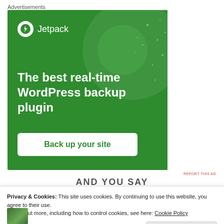Advertisements
[Figure (illustration): Jetpack WordPress plugin advertisement. Green background with large decorative circles, Jetpack logo (lightning bolt icon) at top left, headline 'The best real-time WordPress backup plugin', and a white button labeled 'Back up your site'.]
REPORT THIS AD
AND YOU SAY
Privacy & Cookies: This site uses cookies. By continuing to use this website, you agree to their use.
To find out more, including how to control cookies, see here: Cookie Policy
Close and accept